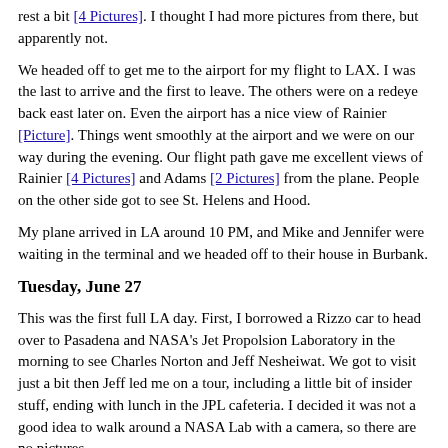rest a bit [4 Pictures]. I thought I had more pictures from there, but apparently not.
We headed off to get me to the airport for my flight to LAX. I was the last to arrive and the first to leave. The others were on a redeye back east later on. Even the airport has a nice view of Rainier [Picture]. Things went smoothly at the airport and we were on our way during the evening. Our flight path gave me excellent views of Rainier [4 Pictures] and Adams [2 Pictures] from the plane. People on the other side got to see St. Helens and Hood.
My plane arrived in LA around 10 PM, and Mike and Jennifer were waiting in the terminal and we headed off to their house in Burbank.
Tuesday, June 27
This was the first full LA day. First, I borrowed a Rizzo car to head over to Pasadena and NASA's Jet Propolsion Laboratory in the morning to see Charles Norton and Jeff Nesheiwat. We got to visit just a bit then Jeff led me on a tour, including a little bit of insider stuff, ending with lunch in the JPL cafeteria. I decided it was not a good idea to walk around a NASA Lab with a camera, so there are no pictures.